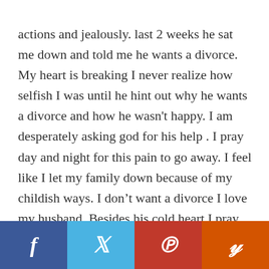actions and jealously. last 2 weeks he sat me down and told me he wants a divorce. My heart is breaking I never realize how selfish I was until he hint out why he wants a divorce and how he wasn't happy. I am desperately asking god for his help . I pray day and night for this pain to go away. I feel like I let my family down because of my childish ways. I don't want a divorce I love my husband. Besides his cold heart I pray that he gives us another chance to safe this marriage.
[Figure (infographic): Social media share buttons: Facebook (dark blue), Twitter (light blue), Pinterest (red), Yummly (orange)]